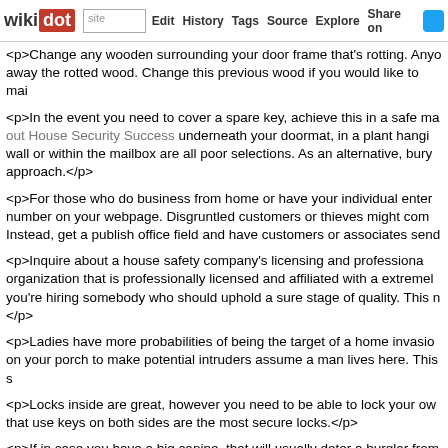wikidot | site | Edit | History | Tags | Source | Explore | Share on [Twitter]
<p>Change any wooden surrounding your door frame that's rotting. Anyone can break away the rotted wood. Change this previous wood if you would like to mai
<p>In the event you need to cover a spare key, achieve this in a safe man out House Security Success underneath your doormat, in a plant hangi wall or within the mailbox are all poor selections. As an alternative, bury approach.</p>
<p>For those who do business from home or have your individual enter number on your webpage. Disgruntled customers or thieves might com Instead, get a publish office field and have customers or associates send
<p>Inquire about a house safety company's licensing and professiona organization that is professionally licensed and affiliated with a extremel you're hiring somebody who should uphold a sure stage of quality. This n </p>
<p>Ladies have more probabilities of being the target of a home invasio on your porch to make potential intruders assume a man lives here. This s
<p>Locks inside are great, however you need to be able to lock your ow that use keys on both sides are the most secure locks.</p>
<p>If in case you have a big canine, that will usually deter a burglar from is best to give them this illusion, even when there is no such thing as a c register your yard that warns about a dangerous canine. Most burglars wo
<p>To achieve shatterproof glass, there may be film you'll be able to app glass will not simply shatter. If you use a tinted movie, you will find that great electronics or jewelry you have got on show, stopping them from se